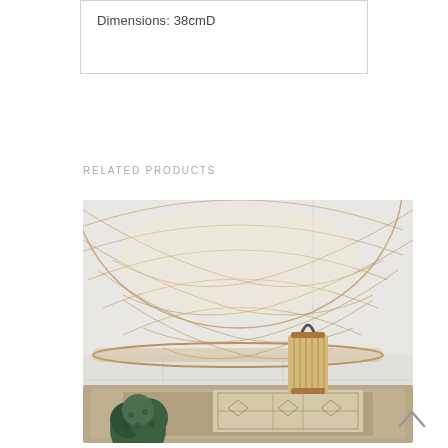Dimensions: 38cmD
RELATED PRODUCTS
[Figure (photo): Interior lifestyle photo showing a woven rattan pendant light shade hanging from above, and a wooden coffee table below with a bamboo lantern and patterned jute rug on top, plus a small green topiary plant.]
[Figure (other): Back to top arrow chevron icon]